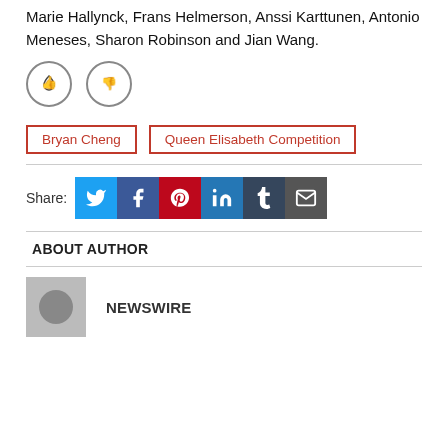Marie Hallynck, Frans Helmerson, Anssi Karttunen, Antonio Meneses, Sharon Robinson and Jian Wang.
[Figure (other): Thumbs up and thumbs down vote icons in circles]
Bryan Cheng
Queen Elisabeth Competition
Share:
[Figure (other): Social share buttons: Twitter, Facebook, Pinterest, LinkedIn, Tumblr, Email]
ABOUT AUTHOR
NEWSWIRE